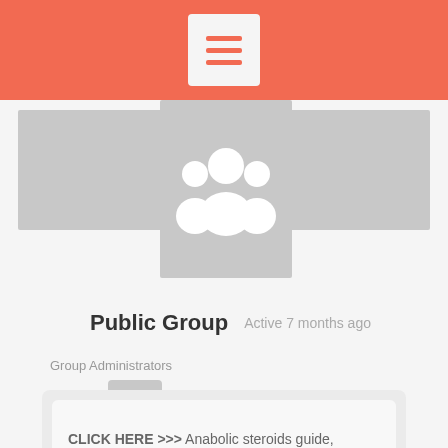[Figure (screenshot): Orange/coral header bar with a hamburger menu icon in a white/light box in the center]
[Figure (illustration): Cover photo area with two gray rectangles on the sides and a center gray rectangle containing a white group/people icon (three silhouette figures)]
Public Group
Active 7 months ago
Group Administrators
[Figure (illustration): Default gray user avatar/profile picture placeholder]
CLICK HERE >>> Anabolic steroids guide, anabolic steroids good for joints – Buy